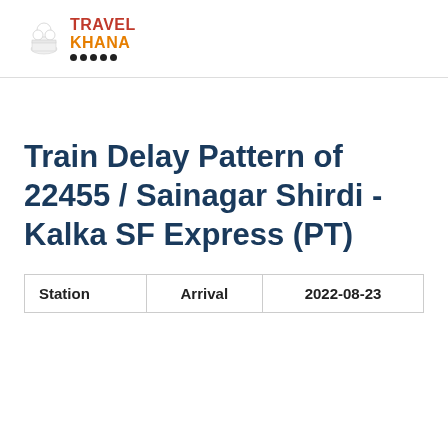[Figure (logo): TravelKhana logo with chef hat icon, red TRAVEL text, orange KHANA text, and decorative dots below]
Train Delay Pattern of 22455 / Sainagar Shirdi - Kalka SF Express (PT)
| Station | Arrival | 2022-08-23 |
| --- | --- | --- |